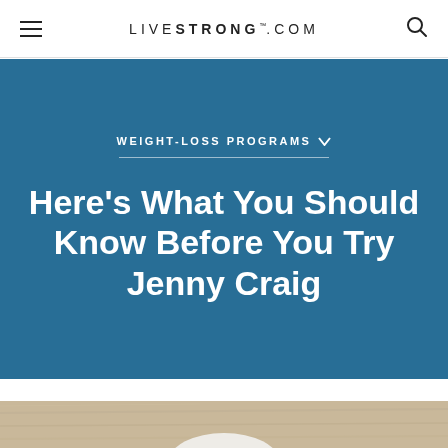LIVESTRONG.COM
WEIGHT-LOSS PROGRAMS
Here's What You Should Know Before You Try Jenny Craig
[Figure (photo): Partial view of a wooden surface with a white bowl, light wood grain texture visible at the bottom of the page.]